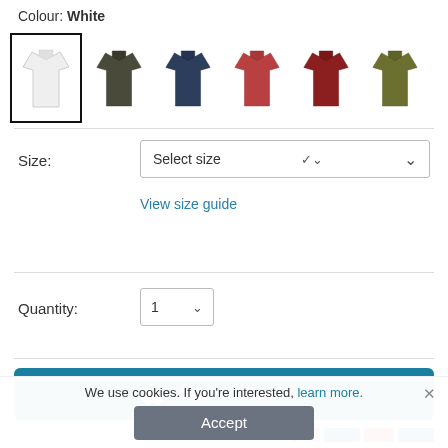Colour: White
[Figure (screenshot): Six t-shirt colour swatches: White (selected, with black border), Dark Gray/Khaki, Navy, Red/Rust, Dark Red, Olive/Khaki]
Size:
Select size
View size guide
Quantity:
1
Add to Basket
We use cookies. If you're interested, learn more.
Accept